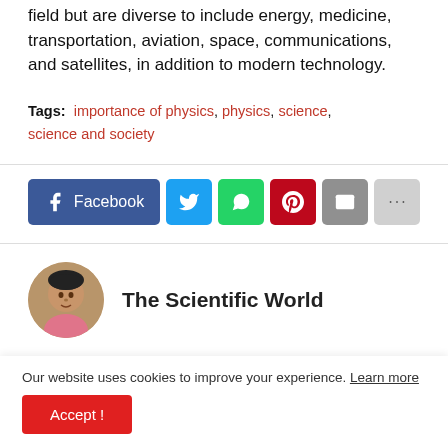field but are diverse to include energy, medicine, transportation, aviation, space, communications, and satellites, in addition to modern technology.
Tags: importance of physics, physics, science, science and society
[Figure (infographic): Social share buttons: Facebook, Twitter, WhatsApp, Pinterest, Email, More]
[Figure (photo): Author avatar photo of a young man]
The Scientific World
Our website uses cookies to improve your experience. Learn more
Accept !